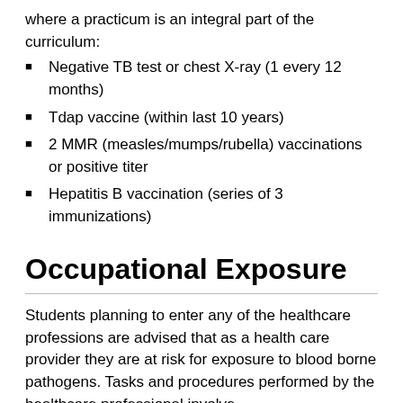where a practicum is an integral part of the curriculum:
Negative TB test or chest X-ray (1 every 12 months)
Tdap vaccine (within last 10 years)
2 MMR (measles/mumps/rubella) vaccinations or positive titer
Hepatitis B vaccination (series of 3 immunizations)
Occupational Exposure
Students planning to enter any of the healthcare professions are advised that as a health care provider they are at risk for exposure to blood borne pathogens. Tasks and procedures performed by the healthcare professional involve